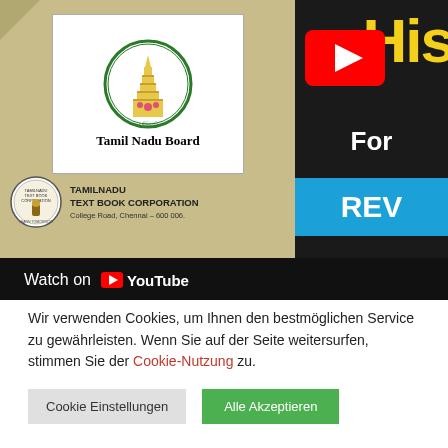[Figure (screenshot): YouTube embedded video screenshot showing a Tamil Nadu Board textbook cover on the left (with Tamil Nadu Text Book Corporation logo and text) and a partially visible YouTube video thumbnail on the right with yellow 'HIS' text, YouTube play button, 'For' text in white, and 'REV' in cyan bar. A 'Watch on YouTube' bar appears at the bottom of the video area.]
Wir verwenden Cookies, um Ihnen den bestmöglichen Service zu gewährleisten. Wenn Sie auf der Seite weitersurfen, stimmen Sie der Cookie-Nutzung zu.
Cookie Einstellungen
Alle Akzeptieren